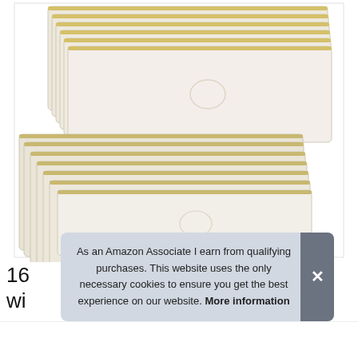[Figure (photo): Stack of approximately 16 natural canvas/cotton zipper pouches arranged in two fanned groups, cream/off-white color, photographed on white background]
As an Amazon Associate I earn from qualifying purchases. This website uses the only necessary cookies to ensure you get the best experience on our website. More information
16
wi